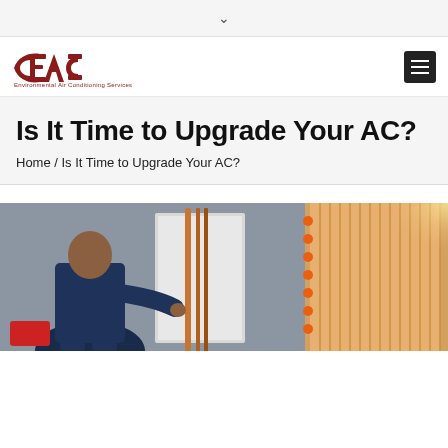∨
[Figure (logo): EAC Environmental Air Conditioning Services logo in dark red/maroon with stylized swoosh letters and text below]
Is It Time to Upgrade Your AC?
Home / Is It Time to Upgrade Your AC?
[Figure (photo): HVAC technician in dark uniform working on an air conditioning unit with copper pipes and refrigeration equipment visible; orange tinted condenser coil visible on right side]